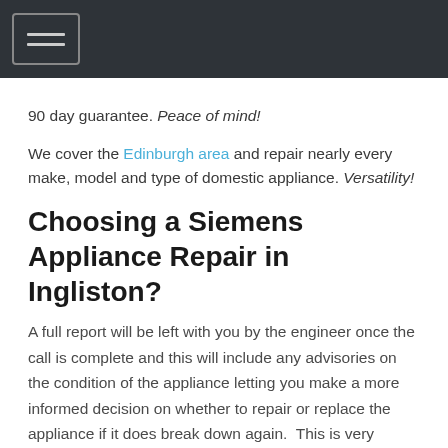[navigation menu button]
90 day guarantee. Peace of mind!
We cover the Edinburgh area and repair nearly every make, model and type of domestic appliance. Versatility!
Choosing a Siemens Appliance Repair in Ingliston?
A full report will be left with you by the engineer once the call is complete and this will include any advisories on the condition of the appliance letting you make a more informed decision on whether to repair or replace the appliance if it does break down again.  This is very informative for landlords and letting agents who may not have seen the appliance for some time. This can also help